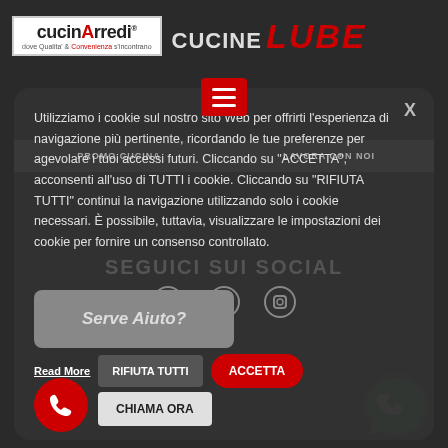[Figure (logo): CucinArredi logo with Cucine Lube branding text]
[Figure (screenshot): Website cookie consent modal overlay on dark background showing cookie usage text with RIFIUTA TUTTI and ACCETTA buttons, plus CHIAMA ORA and WhatsApp buttons]
Utilizziamo i cookie sul nostro sito Web per offrirti l'esperienza di navigazione più pertinente, ricordando le tue preferenze per agevolare i tuoi accessi futuri. Cliccando su "ACCETTA", acconsenti all'uso di TUTTI i cookie. Cliccando su "RIFIUTA TUTTI" continui la navigazione utilizzando solo i cookie necessari. È possibile, tuttavia, visualizzare le impostazioni dei cookie per fornire un consenso controllato.
Read More
RIFIUTA TUTTI
ACCETTA
CHIAMA ORA